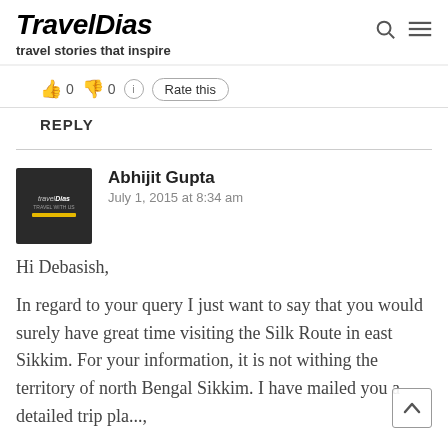TravelDias — travel stories that inspire
[Figure (infographic): Thumbs up emoji with count 0, thumbs down emoji with count 0, info icon, Rate this button]
REPLY
[Figure (logo): TravelDias avatar logo — dark background with yellow bar]
Abhijit Gupta
July 1, 2015 at 8:34 am
Hi Debasish,

In regard to your query I just want to say that you would surely have great time visiting the Silk Route in east Sikkim. For your information, it is not withing the territory of north Bengal Sikkim. I have mailed you a detailed trip pla...,